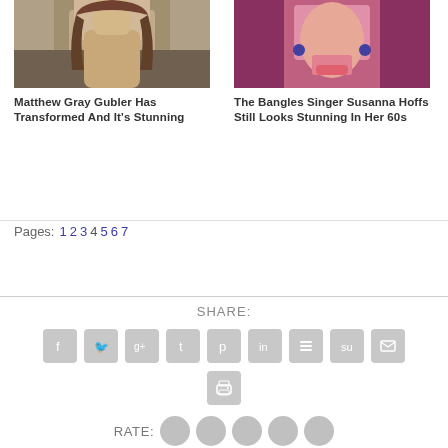[Figure (photo): Photo of Matthew Gray Gubler, young man with long brown hair]
Matthew Gray Gubler Has Transformed And It's Stunning
[Figure (photo): Photo of Susanna Hoffs of The Bangles, woman singer performing]
The Bangles Singer Susanna Hoffs Still Looks Stunning In Her 60s
Pages: 1 2 3 4 5 6 7
SHARE:
[Figure (infographic): Social share icons: Facebook, Twitter, Google+, Tumblr, Pinterest, LinkedIn, Buffer, StumbleUpon, Email, Print]
RATE: